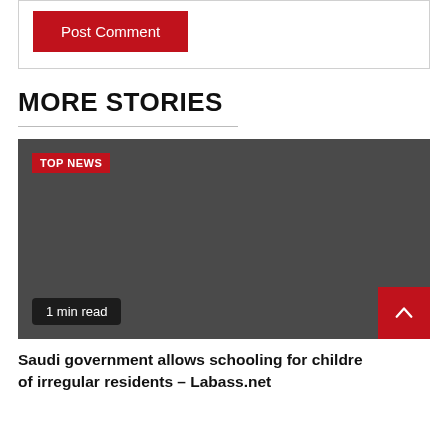[Figure (other): Post Comment button — red rectangle with white text]
MORE STORIES
[Figure (photo): Dark grey placeholder image for a news story with TOP NEWS badge and 1 min read label. A red scroll-to-top button is in the bottom right corner.]
Saudi government allows schooling for children of irregular residents – Labass.net